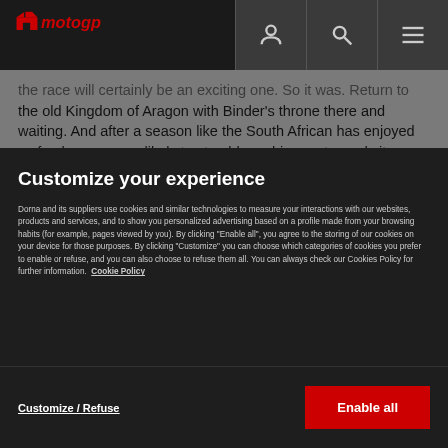MotoGP header with logo and navigation icons
the race will certainly be an exciting one. So it was. Return to the old Kingdom of Aragon with Binder's throne there and waiting. And after a season like the South African has enjoyed so far, he seems unlikely to stumble on his way towards it.
Customize your experience
Dorna and its suppliers use cookies and similar technologies to measure your interactions with our websites, products and services, and to show you personalized advertising based on a profile made from your browsing habits (for example, pages viewed by you). By clicking “Enable all”, you agree to the storing of our cookies on your device for those purposes. By clicking “Customize” you can choose which categories of cookies you prefer to enable or refuse, and you can also choose to refuse them all. You can always check our Cookies Policy for further information. Cookie Policy
Customize / Refuse
Enable all